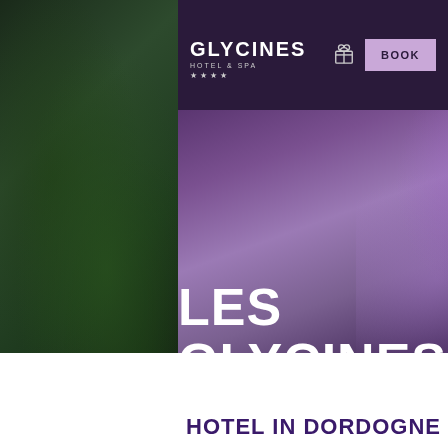[Figure (photo): Left panel showing a dark garden landscape with green trees and bushes under dim lighting]
[Figure (photo): Right panel showing close-up of purple wisteria flowers hanging in clusters against dark background]
GLYCINES HOTEL & SPA ****
BOOK
LES GLYCINES
ACCOMMODATION IN DORDOGNE
HOTEL IN DORDOGNE